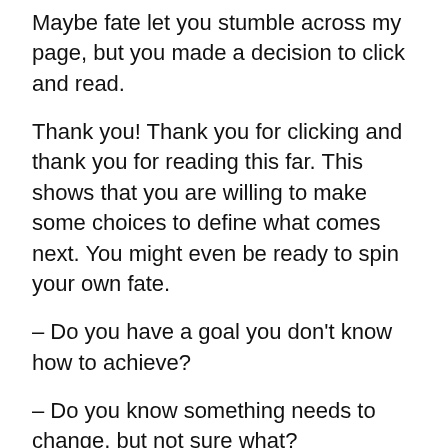Maybe fate let you stumble across my page, but you made a decision to click and read.
Thank you! Thank you for clicking and thank you for reading this far. This shows that you are willing to make some choices to define what comes next. You might even be ready to spin your own fate.
– Do you have a goal you don't know how to achieve?
– Do you know something needs to change, but not sure what?
– Are you taking on a new challenge and want